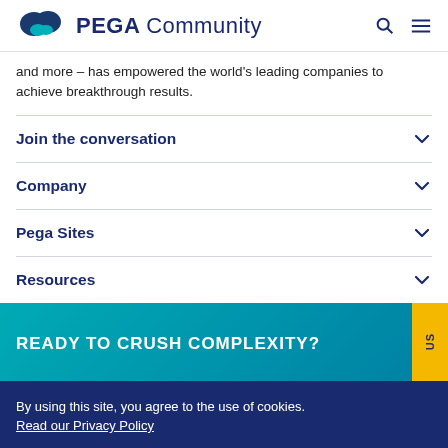PEGA Community
and more – has empowered the world's leading companies to achieve breakthrough results.
Join the conversation
Company
Pega Sites
Resources
READY TO CRUSH COMPLEXITY?
By using this site, you agree to the use of cookies. Read our Privacy Policy
Accept and continue | About cookies